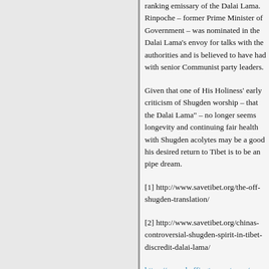ranking emissary of the Dalai Lama. Rinpoche – former Prime Minister of Government – was nominated in the Dalai Lama's envoy for talks with the authorities and is believed to have had with senior Communist party leaders.
Given that one of His Holiness' early criticism of Shugden worship – that the Dalai Lama" – no longer seems longevity and continuing fair health with Shugden acolytes may be a good his desired return to Tibet is to be an pipe dream.
[1] http://www.savetibet.org/the-off-shugden-translation/
[2] http://www.savetibet.org/chinas-controversial-shugden-spirit-in-tibet-discredit-dalai-lama/
https://www.huffingtonpost.com/e